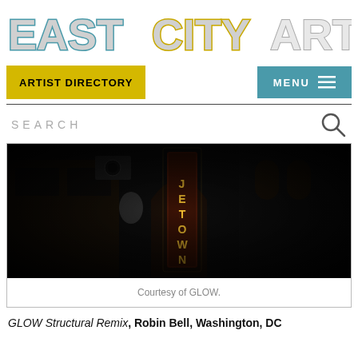EASTCITYART
ARTIST DIRECTORY
MENU
SEARCH
[Figure (photo): Night-time photograph of a building with an illuminated vertical sign reading 'JETOWN' (partial view of Georgetown), with dramatic dark lighting and architectural arches visible]
Courtesy of GLOW.
GLOW Structural Remix, Robin Bell, Washington, DC